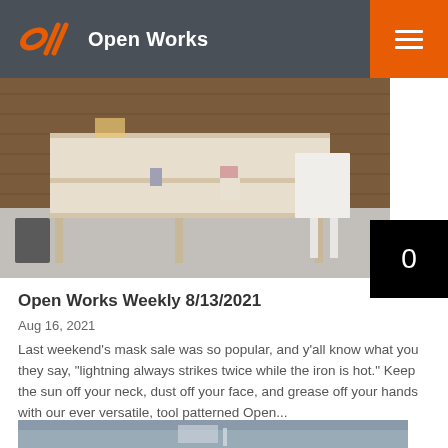Open Works
[Figure (photo): Workshop interior photo showing wooden shelving unit and white geometric furniture pieces on a concrete floor with wood-paneled wall in background]
Open Works Weekly 8/13/2021
Aug 16, 2021
Last weekend's mask sale was so popular, and y'all know what you they say, "lightning always strikes twice while the iron is hot." Keep the sun off your neck, dust off your face, and grease off your hands with our ever versatile, tool patterned Open...
[Figure (photo): Blurred bottom portion of another photo showing a rooftop or outdoor scene]